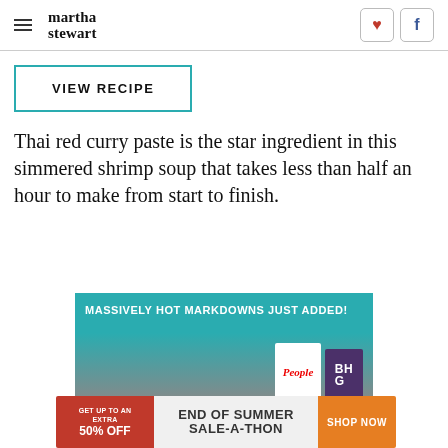martha stewart
VIEW RECIPE
Thai red curry paste is the star ingredient in this simmered shrimp soup that takes less than half an hour to make from start to finish.
[Figure (infographic): Advertisement banner: MASSIVELY HOT MARKDOWNS JUST ADDED! with magazine covers (People, BHG) on teal/grey gradient background]
[Figure (infographic): Advertisement banner: GET UP TO AN EXTRA 50% OFF | END OF SUMMER SALE-A-THON | SHOP NOW on red/grey/orange background]